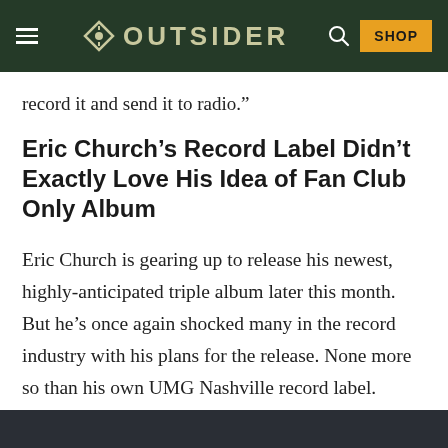OUTSIDER — SHOP
record it and send it to radio.”
Eric Church’s Record Label Didn’t Exactly Love His Idea of Fan Club Only Album
Eric Church is gearing up to release his newest, highly-anticipated triple album later this month. But he’s once again shocked many in the record industry with his plans for the release. None more so than his own UMG Nashville record label.